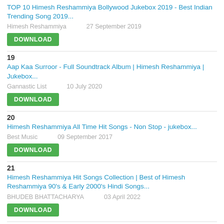TOP 10 Himesh Reshammiya Bollywood Jukebox 2019 - Best Indian Trending Song 2019...
Himesh Reshammiya    27 September 2019
DOWNLOAD
19
Aap Kaa Surroor - Full Soundtrack Album | Himesh Reshammiya | Jukebox...
Gannastic List    10 July 2020
DOWNLOAD
20
Himesh Reshammiya All Time Hit Songs - Non Stop - jukebox...
Best Music    09 September 2017
DOWNLOAD
21
Himesh Reshammiya Hit Songs Collection | Best of Himesh Reshammiya 90's & Early 2000's Hindi Songs...
BHUDEB BHATTACHARYA    03 April 2022
DOWNLOAD
22
Songs collection of HIMESH Reshammiya & EMRAAN Hashmi All Time Hit / BOLLYWOOD HINDI SONGS - Jukebox...